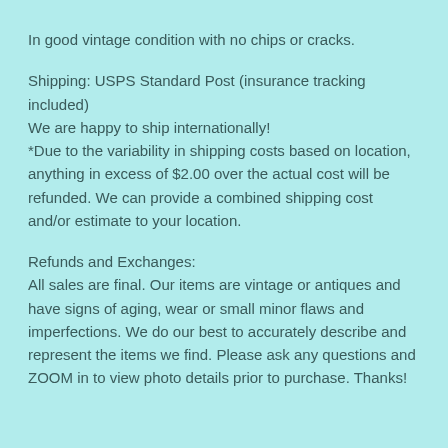In good vintage condition with no chips or cracks.
Shipping: USPS Standard Post (insurance tracking included)
We are happy to ship internationally!
*Due to the variability in shipping costs based on location, anything in excess of $2.00 over the actual cost will be refunded. We can provide a combined shipping cost and/or estimate to your location.
Refunds and Exchanges:
All sales are final. Our items are vintage or antiques and have signs of aging, wear or small minor flaws and imperfections. We do our best to accurately describe and represent the items we find. Please ask any questions and ZOOM in to view photo details prior to purchase. Thanks!